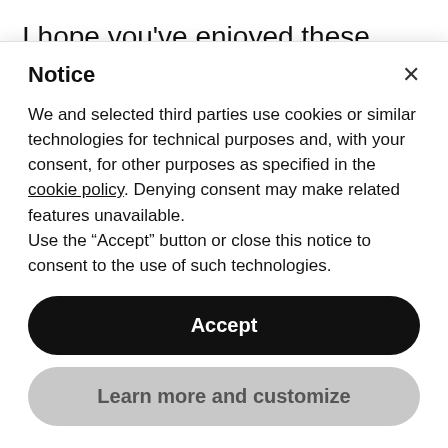I hope you've enjoyed these beautiful images by Sophie Darwin Photography and that incredibly moving film by Films About Love. The spirit of an elopement is about being just the two of you and this inspiration shoot has magically captured that [partial text cut off]
Notice
We and selected third parties use cookies or similar technologies for technical purposes and, with your consent, for other purposes as specified in the cookie policy. Denying consent may make related features unavailable.
Use the "Accept" button or close this notice to consent to the use of such technologies.
Accept
Learn more and customize